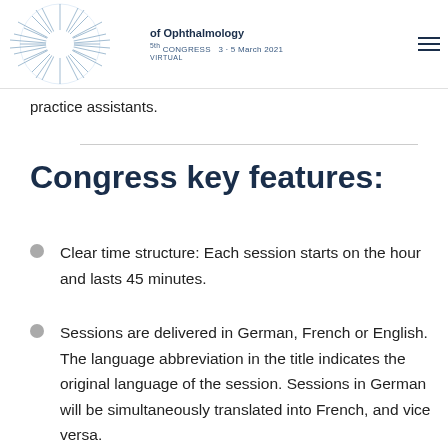of Ophthalmology 5th CONGRESS 3-5 March 2021 VIRTUAL
practice assistants.
Congress key features:
Clear time structure: Each session starts on the hour and lasts 45 minutes.
Sessions are delivered in German, French or English. The language abbreviation in the title indicates the original language of the session. Sessions in German will be simultaneously translated into French, and vice versa.